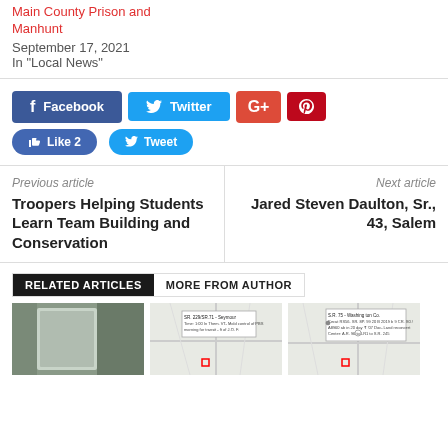Main County Prison and Manhunt
September 17, 2021
In "Local News"
[Figure (infographic): Social sharing buttons: Facebook, Twitter, Google+, Pinterest, Like 2, Tweet]
Previous article
Troopers Helping Students Learn Team Building and Conservation
Next article
Jared Steven Daulton, Sr., 43, Salem
RELATED ARTICLES   MORE FROM AUTHOR
[Figure (photo): Photo of a trailer or shipping container door]
[Figure (map): Map with SR 229/SR 71 Seymour location callout box and red square marker]
[Figure (map): Map with SR 75 Washington Co. location callout box and red square marker]